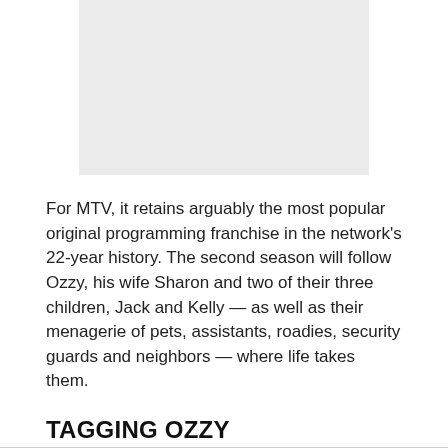[Figure (other): Gray rectangular image placeholder at top center of page]
For MTV, it retains arguably the most popular original programming franchise in the network's 22-year history. The second season will follow Ozzy, his wife Sharon and two of their three children, Jack and Kelly — as well as their menagerie of pets, assistants, roadies, security guards and neighbors — where life takes them.
TAGGING OZZY
Along with 20 more episodes, MTV executives said it